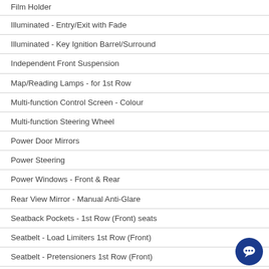Film Holder
Illuminated - Entry/Exit with Fade
Illuminated - Key Ignition Barrel/Surround
Independent Front Suspension
Map/Reading Lamps - for 1st Row
Multi-function Control Screen - Colour
Multi-function Steering Wheel
Power Door Mirrors
Power Steering
Power Windows - Front & Rear
Rear View Mirror - Manual Anti-Glare
Seatback Pockets - 1st Row (Front) seats
Seatbelt - Load Limiters 1st Row (Front)
Seatbelt - Pretensioners 1st Row (Front)
Seatbelts - Lap/Sash for 5 seats